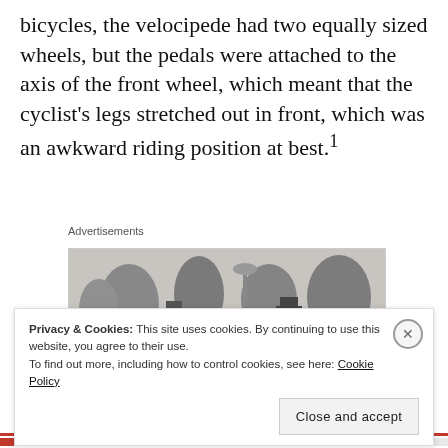bicycles, the velocipede had two equally sized wheels, but the pedals were attached to the axis of the front wheel, which meant that the cyclist's legs stretched out in front, which was an awkward riding position at best.¹
Advertisements
[Figure (illustration): A black and white engraving/illustration showing several men in Victorian-era clothing standing outdoors near trees and a lamp post.]
Privacy & Cookies: This site uses cookies. By continuing to use this website, you agree to their use. To find out more, including how to control cookies, see here: Cookie Policy
Close and accept